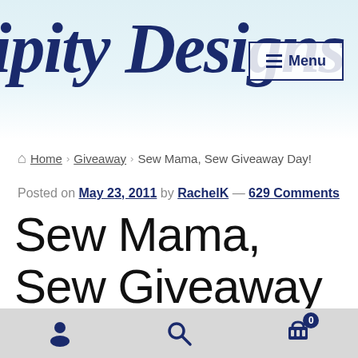ipity Designs — Menu
Home › Giveaway › Sew Mama, Sew Giveaway Day!
Posted on May 23, 2011 by RachelK — 629 Comments
Sew Mama, Sew Giveaway Day!
Today is the day! If you have never taken part in Sew Mama, Sew Giveaway Day, for more info...